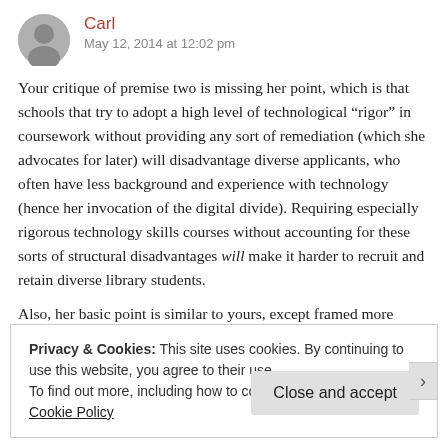Carl
May 12, 2014 at 12:02 pm
Your critique of premise two is missing her point, which is that schools that try to adopt a high level of technological “rigor” in coursework without providing any sort of remediation (which she advocates for later) will disadvantage diverse applicants, who often have less background and experience with technology (hence her invocation of the digital divide). Requiring especially rigorous technology skills courses without accounting for these sorts of structural disadvantages will make it harder to recruit and retain diverse library students.
Also, her basic point is similar to yours, except framed more
Privacy & Cookies: This site uses cookies. By continuing to use this website, you agree to their use.
To find out more, including how to control cookies, see here:
Cookie Policy
Close and accept